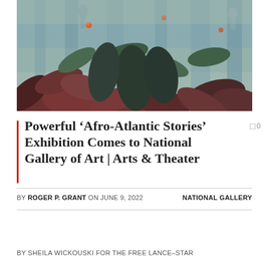[Figure (photo): A painting or artwork showing tropical foliage with dark red-brown leaves against a muted blue-grey background, with hints of small orange flowers and faint figure outlines. Soft, impressionistic style.]
Powerful ‘Afro-Atlantic Stories’ Exhibition Comes to National Gallery of Art | Arts & Theater
□ 0
BY ROGER P. GRANT ON JUNE 9, 2022    NATIONAL GALLERY
BY SHEILA WICKOUSKI FOR THE FREE LANCE–STAR